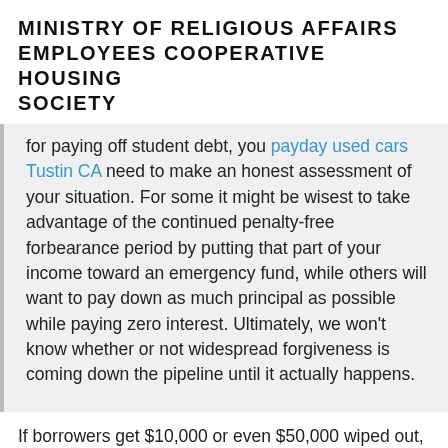MINISTRY OF RELIGIOUS AFFAIRS EMPLOYEES COOPERATIVE HOUSING SOCIETY
for paying off student debt, you payday used cars Tustin CA need to make an honest assessment of your situation. For some it might be wisest to take advantage of the continued penalty-free forbearance period by putting that part of your income toward an emergency fund, while others will want to pay down as much principal as possible while paying zero interest. Ultimately, we won't know whether or not widespread forgiveness is coming down the pipeline until it actually happens.
If borrowers get $10,000 or even $50,000 wiped out, that's great," Snider says. "But until then, we're proceeding as we have been.